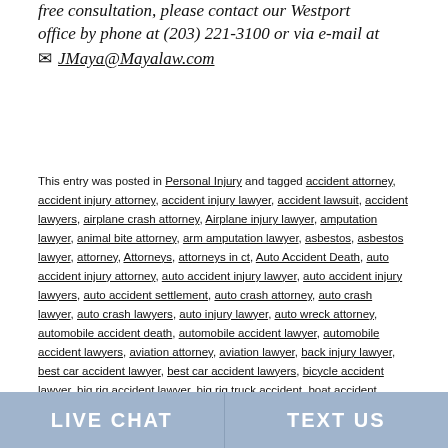free consultation, please contact our Westport office by phone at (203) 221-3100 or via e-mail at ✉ JMaya@Mayalaw.com
This entry was posted in Personal Injury and tagged accident attorney, accident injury attorney, accident injury lawyer, accident lawsuit, accident lawyers, airplane crash attorney, Airplane injury lawyer, amputation lawyer, animal bite attorney, arm amputation lawyer, asbestos, asbestos lawyer, attorney, Attorneys, attorneys in ct, Auto Accident Death, auto accident injury attorney, auto accident injury lawyer, auto accident injury lawyers, auto accident settlement, auto crash attorney, auto crash lawyer, auto crash lawyers, auto injury lawyer, auto wreck attorney, automobile accident death, automobile accident lawyer, automobile accident lawyers, aviation attorney, aviation lawyer, back injury lawyer, best car accident lawyer, best car accident lawyers, bicycle accident lawyer, big rig accident lawyer, big rig truck accident, boat accident lawyer, boat Accidents, brain damage lawsuit, brain damage lawyer, brain damage lawyers, brain injury lawyers, bridgeport, car accident, car accident claim, car accident death, car accident help, car accident injury lawyer, car accident injury lawyers,
LIVE CHAT   TEXT US